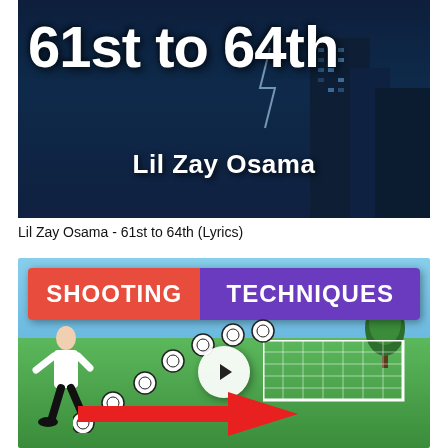[Figure (screenshot): YouTube thumbnail for 'Lil Zay Osama - 61st to 64th (Lyrics)' showing large bold white text '61st to 64th' and 'Lil Zay Osama' on a dark stormy city background]
Lil Zay Osama - 61st to 64th (Lyrics)
[Figure (screenshot): YouTube thumbnail for a soccer shooting techniques video, showing 'SHOOTING TECHNIQUES' banner with orange and purple halves, a soccer player kicking multiple balls toward a goal, a play button circle, and a large red arrow pointing left]